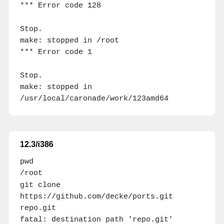*** Error code 128

Stop.
make: stopped in /root
*** Error code 1

Stop.
make: stopped in
/usr/local/caronade/work/123amd64
12.3/i386
pwd
/root
git clone
https://github.com/decke/ports.git
repo.git
fatal: destination path 'repo.git'
already exists and is not an empty